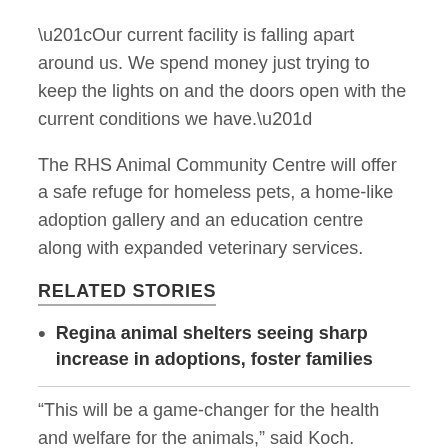“Our current facility is falling apart around us. We spend money just trying to keep the lights on and the doors open with the current conditions we have.”
The RHS Animal Community Centre will offer a safe refuge for homeless pets, a home-like adoption gallery and an education centre along with expanded veterinary services.
RELATED STORIES
Regina animal shelters seeing sharp increase in adoptions, foster families
“This will be a game-changer for the health and welfare for the animals,” said Koch.